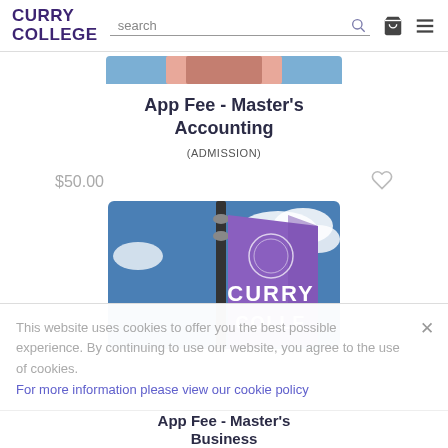CURRY COLLEGE
[Figure (photo): Partial photo at top of page, partially cropped, showing sky and what appears to be a campus image]
App Fee - Master's Accounting
(ADMISSION)
$50.00
[Figure (photo): Curry College banner flag on a pole against a blue sky with clouds, showing the Curry College logo and text 'CURRY COLLEGE']
This website uses cookies to offer you the best possible experience. By continuing to use our website, you agree to the use of cookies.
For more information please view our cookie policy
App Fee - Master's Business